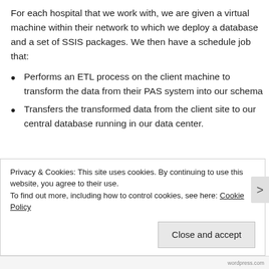For each hospital that we work with, we are given a virtual machine within their network to which we deploy a database and a set of SSIS packages. We then have a schedule job that:
Performs an ETL process on the client machine to transform the data from their PAS system into our schema
Transfers the transformed data from the client site to our central database running in our data center.
Privacy & Cookies: This site uses cookies. By continuing to use this website, you agree to their use.
To find out more, including how to control cookies, see here: Cookie Policy
Close and accept